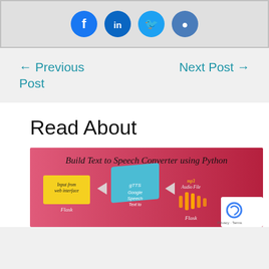[Figure (illustration): Social media icon circles: Facebook (blue), LinkedIn (blue), Twitter (light blue), GitHub (blue-gray) displayed in a gray banner panel]
← Previous Post
Next Post →
Read About
[Figure (illustration): Banner image for 'Build Text to Speech Converter using Python' showing a pipeline: Input from web interface (yellow note) → gTTS Google Speech Text to (teal/blue 3D box) → mp3 Audio File Flask (sound wave graphic), on pink/red gradient background. A reCAPTCHA badge appears in the bottom right corner with 'Privacy - Terms'.]